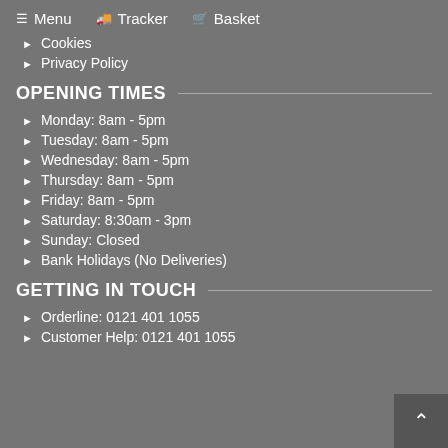Menu  Tracker  Basket
Cookies
Privacy Policy
OPENING TIMES
Monday: 8am - 5pm
Tuesday: 8am - 5pm
Wednesday: 8am - 5pm
Thursday: 8am - 5pm
Friday: 8am - 5pm
Saturday: 8:30am - 3pm
Sunday: Closed
Bank Holidays (No Deliveries)
GETTING IN TOUCH
Orderline: 0121 401 1055
Customer Help: 0121 401 1055